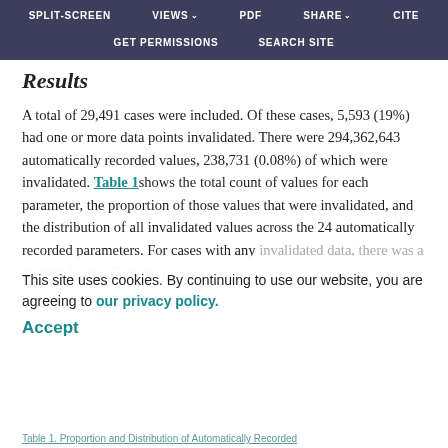SPLIT-SCREEN  VIEWS  PDF  SHARE  CITE  GET PERMISSIONS  SEARCH SITE
Results
A total of 29,491 cases were included. Of these cases, 5,593 (19%) had one or more data points invalidated. There were 294,362,643 automatically recorded values, 238,731 (0.08%) of which were invalidated. Table 1 shows the total count of values for each parameter, the proportion of those values that were invalidated, and the distribution of all invalidated values across the 24 automatically recorded parameters. For cases with any invalidated data, there was a median [25th - 75th %
This site uses cookies. By continuing to use our website, you are agreeing to our privacy policy. Accept
Table 1. Proportion and Distribution of Automatically Recorded...